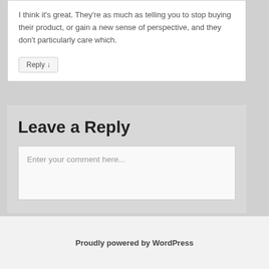I think it's great. They're as much as telling you to stop buying their product, or gain a new sense of perspective, and they don't particularly care which.
Reply ↓
Leave a Reply
Enter your comment here...
Proudly powered by WordPress